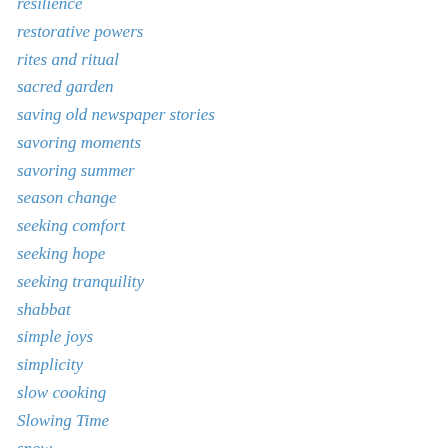resilience
restorative powers
rites and ritual
sacred garden
saving old newspaper stories
savoring moments
savoring summer
season change
seeking comfort
seeking hope
seeking tranquility
shabbat
simple joys
simplicity
slow cooking
Slowing Time
snow
solstice
spirituality
springtime